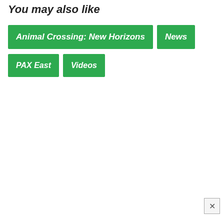You may also like
Animal Crossing: New Horizons
News
PAX East
Videos